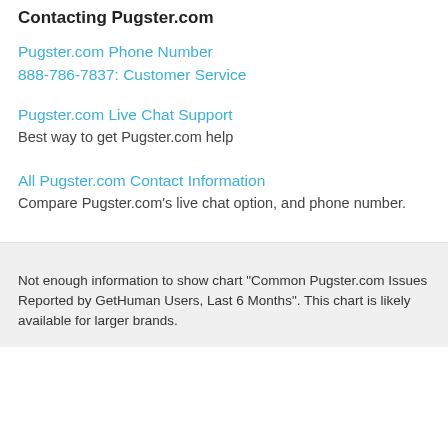Contacting Pugster.com
Pugster.com Phone Number
888-786-7837: Customer Service
Pugster.com Live Chat Support
Best way to get Pugster.com help
All Pugster.com Contact Information
Compare Pugster.com's live chat option, and phone number.
Not enough information to show chart "Common Pugster.com Issues Reported by GetHuman Users, Last 6 Months". This chart is likely available for larger brands.